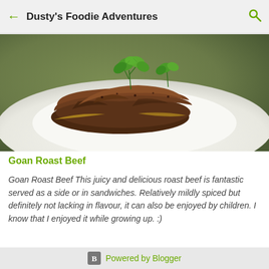Dusty's Foodie Adventures
[Figure (photo): Photo of Goan Roast Beef – sliced roast beef pieces stacked on a white plate, garnished with fresh parsley, with an olive-green blurred background]
Goan Roast Beef
Goan Roast Beef This juicy and delicious roast beef is fantastic served as a side or in sandwiches. Relatively mildly spiced but definitely not lacking in flavour, it can also be enjoyed by children. I know that I enjoyed it while growing up. :)
Powered by Blogger